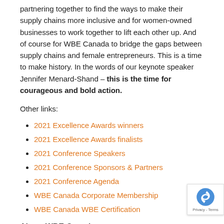partnering together to find the ways to make their supply chains more inclusive and for women-owned businesses to work together to lift each other up. And of course for WBE Canada to bridge the gaps between supply chains and female entrepreneurs. This is a time to make history. In the words of our keynote speaker Jennifer Menard-Shand – this is the time for courageous and bold action.
Other links:
2021 Excellence Awards winners
2021 Excellence Awards finalists
2021 Conference Speakers
2021 Conference Sponsors & Partners
2021 Conference Agenda
WBE Canada Corporate Membership
WBE Canada WBE Certification
About WBE Canada
WBE Canada is a Canadian non-profit organization that is opening doors for women-owned businesses to supply chains across North America. It certifies Canadian firms that are at least owned, managed and controlled by women and introduces them